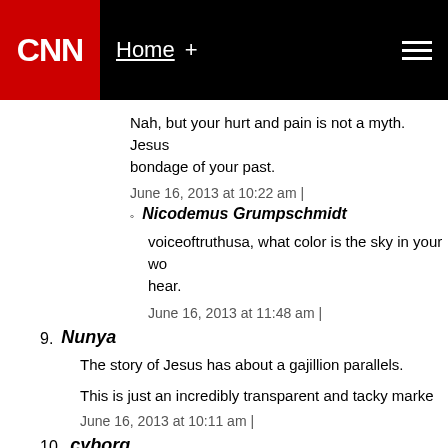CNN Home +
Nah, but your hurt and pain is not a myth. Jesus bondage of your past.
June 16, 2013 at 10:22 am |
Nicodemus Grumpschmidt
voiceoftruthusa, what color is the sky in your wor hear.
June 16, 2013 at 11:48 am |
9. Nunya
The story of Jesus has about a gajillion parallels.
This is just an incredibly transparent and tacky marke
June 16, 2013 at 10:11 am |
10. cyborg
Looks like a great way to galvanize "Christians" for th